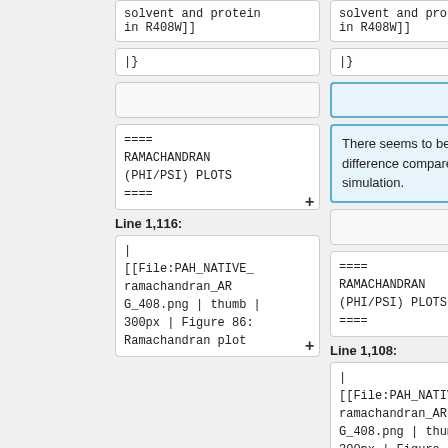solvent and protein in R408W]]
solvent and protein in R408W]]
|}
|}
There seems to be no difference compared to the WT simulation.
====
RAMACHANDRAN (PHI/PSI) PLOTS
====
====
RAMACHANDRAN (PHI/PSI) PLOTS
====
Line 1,116:
Line 1,108:
|
[[File:PAH_NATIVE_ramachandran_ARG_408.png | thumb | 300px | Figure 86: Ramachandran plot
|
[[File:PAH_NATIVE_ramachandran_ARG_408.png | thumb | 300px | Figure 86: Ramachandran plot